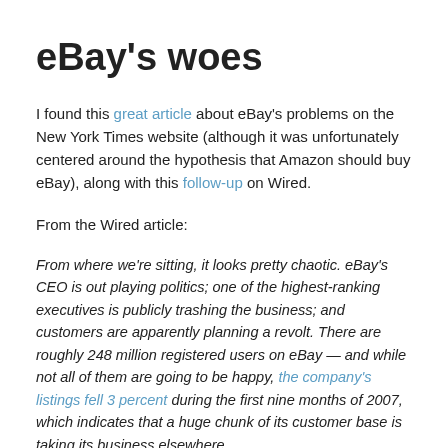eBay's woes
I found this great article about eBay's problems on the New York Times website (although it was unfortunately centered around the hypothesis that Amazon should buy eBay), along with this follow-up on Wired.
From the Wired article:
From where we're sitting, it looks pretty chaotic. eBay's CEO is out playing politics; one of the highest-ranking executives is publicly trashing the business; and customers are apparently planning a revolt. There are roughly 248 million registered users on eBay — and while not all of them are going to be happy, the company's listings fell 3 percent during the first nine months of 2007, which indicates that a huge chunk of its customer base is taking its business elsewhere.